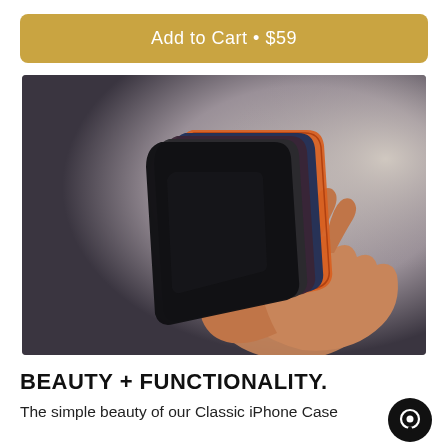Add to Cart • $59
[Figure (photo): A hand holding multiple stacked iPhone cases in different colors: black, dark gray, navy blue, dark purple, and orange, fanned out, photographed against a gray gradient background.]
BEAUTY + FUNCTIONALITY.
The simple beauty of our Classic iPhone Case